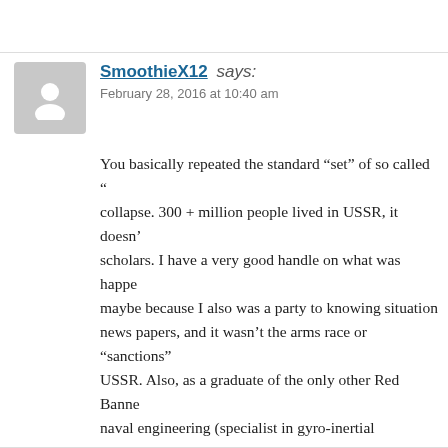SmoothieX12 says:
February 28, 2016 at 10:40 am
You basically repeated the standard “set” of so called “ collapse. 300 + million people lived in USSR, it doesn’ scholars. I have a very good handle on what was happe maybe because I also was a party to knowing situation news papers, and it wasn’t the arms race or “sanctions” USSR. Also, as a graduate of the only other Red Banne naval engineering (specialist in gyro-inertial navigation missile systems, mainly projects 667 B and BD, NATO your knowledge of intricacies of the arms race are not most what you are observing today in Russia’s arsenal, (ECCM) to C4ISR and SU-35s, all of it has its genesis complex of 1980s.